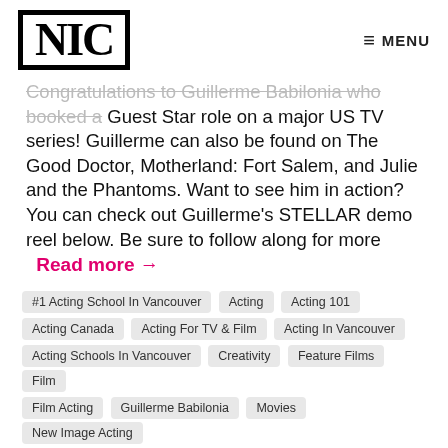NIC | MENU
Congratulations to Guillerme Babilonia who booked a Guest Star role on a major US TV series! Guillerme can also be found on The Good Doctor, Motherland: Fort Salem, and Julie and the Phantoms. Want to see him in action? You can check out Guillerme's STELLAR demo reel below. Be sure to follow along for more   Read more →
#1 Acting School In Vancouver
Acting
Acting 101
Acting Canada
Acting For TV & Film
Acting In Vancouver
Acting Schools In Vancouver
Creativity
Feature Films
Film
Film Acting
Guillerme Babilonia
Movies
New Image Acting
New Image College
New Image College Acting
NewImage Acting
NIC
NIC Acting
Nicgrad
TV & Film
TV& Film Acting
Vancouver Acting